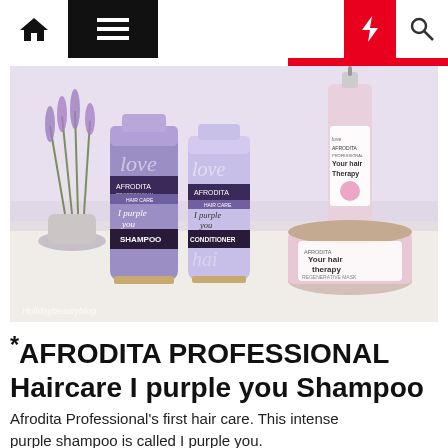Navigation bar with home, menu, moon, lightning, and search icons
[Figure (photo): Afrodita Professional haircare products: I purple you Shampoo (purple tube), I purple you Conditioner (lighter purple tube), and Your hair therapy regenerative mask (pink jar) with a serum bottle, arranged on a white surface with lavender flowers in the background.]
*AFRODITA PROFESSIONAL Haircare I purple you Shampoo
Afrodita Professional's first hair care. This intense purple shampoo is called I purple you.